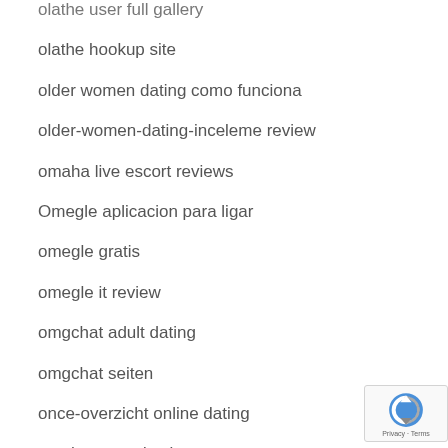olathe user full gallery
olathe hookup site
older women dating como funciona
older-women-dating-inceleme review
omaha live escort reviews
Omegle aplicacion para ligar
omegle gratis
omegle it review
omgchat adult dating
omgchat seiten
once-overzicht online dating
one hour payday loan